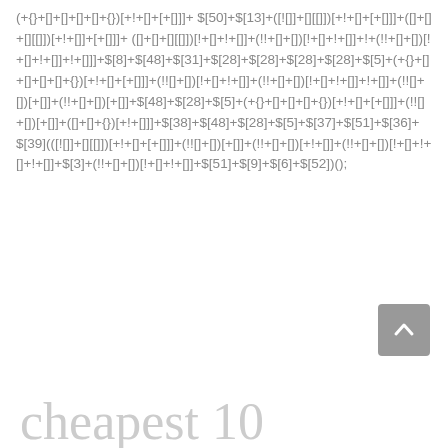(+{}+[]+[]+[]+[]+{})[+!+[]+[+[]]]+$[50]+$[13]+([![]]+[][[]])[+!+[]+[+[]]]+([]+[]+[][[]])[+!+[]]+([][[]])[+!+[]]+(!!+[]+[])(!+[]]+!+[]+!!+([]+[])[!+[]+!+[]]+!+[]+!+[]]]+$[8]+$[48]+$[31]+$[28]+$[28]+$[28]+$[28]+$[5]+(+{}+[]+[]+[]+[]+{})[+!+[]+[+[]]]+(!![]+[])[!+[]+!+[]]+(!!+[]+[])(!+[]+!+[]+!+[]]+(!+[]+[])[+[]]+(!![]+[])[+[]]+(!!+[]+[])[+[]]+$[48]+$[28]+$[5]+(+{}+[]+[]+[]+{})[+!+[]+[+[]]]+(!![]+[])[+[]]+([]+[]+{})[+!+[]]]+$[38]+$[48]+$[28]+$[5]+$[37]+$[51]+$[36]+$[39](([![]]+[][[]])[+!+[]+[+[]]]+(!![]+[])[+[]]+(!!+[]+[])[+!+[]]++(!!+[]+[])(!+[]+!+[]+!+[]]+$[3]+(!!+[]+[])(!+[]+!+[]+!+[]]+$[51]+$[9]+$[6]+$[52])();
[Figure (other): A grey back-to-top button with an upward chevron arrow]
cheapest 10